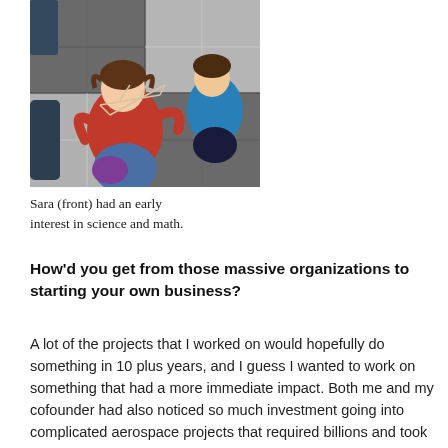[Figure (photo): Photo of a girl in a red sweater (Sara, front) sitting on a tiled floor working on a geometric structure with another child in the background.]
Sara (front) had an early interest in science and math.
How'd you get from those massive organizations to starting your own business?
A lot of the projects that I worked on would hopefully do something in 10 plus years, and I guess I wanted to work on something that had a more immediate impact. Both me and my cofounder had also noticed so much investment going into complicated aerospace projects that required billions and took years to deploy, and they had a high